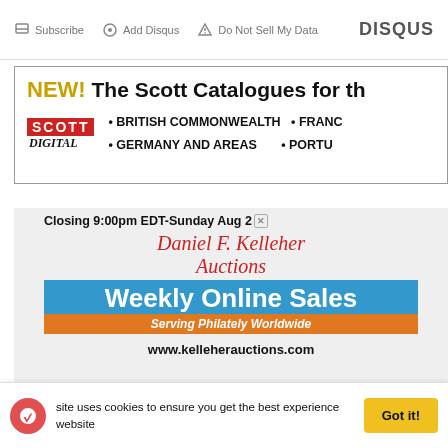[Figure (screenshot): Disqus comment bar with Subscribe, Add Disqus, Do Not Sell My Data options and DISQUS branding]
[Figure (screenshot): Scott Digital advertisement: NEW! The Scott Catalogues for th... with Scott Digital logo, bullet points for BRITISH COMMONWEALTH, GERMANY AND AREAS, FRANC..., PORTU...]
[Figure (screenshot): Daniel F. Kelleher Auctions advertisement: Closing 9:00pm EDT-Sunday Aug 2... Weekly Online Sales - Serving Philately Worldwide - www.kelleherauctions.com]
site uses cookies to ensure you get the best experience website
Got it!